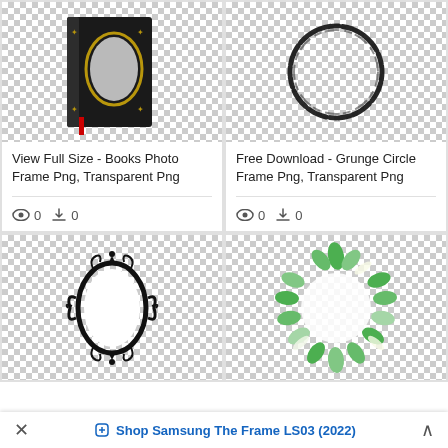[Figure (photo): Books photo frame PNG on transparent checkered background - dark book cover with gold oval frame]
View Full Size - Books Photo Frame Png, Transparent Png
👁 0  ⬇ 0
[Figure (photo): Grunge circle frame PNG on transparent checkered background - hand-drawn black ink brush circle]
Free Download - Grunge Circle Frame Png, Transparent Png
👁 0  ⬇ 0
[Figure (photo): Ornate black decorative oval frame PNG on transparent checkered background]
[Figure (photo): Green leaf wreath circle frame PNG on transparent checkered background]
Shop Samsung The Frame LS03 (2022)